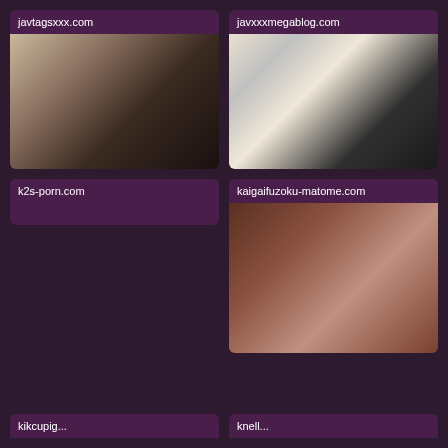javtagsxxx.com
[Figure (photo): Thumbnail image for javtagsxxx.com]
javxxxmegablog.com
[Figure (photo): Thumbnail image for javxxxmegablog.com showing a blonde woman]
k2s-porn.com
kaigaifuzoku-matome.com
[Figure (photo): Thumbnail image for kaigaifuzoku-matome.com]
kikcupig...
knell...